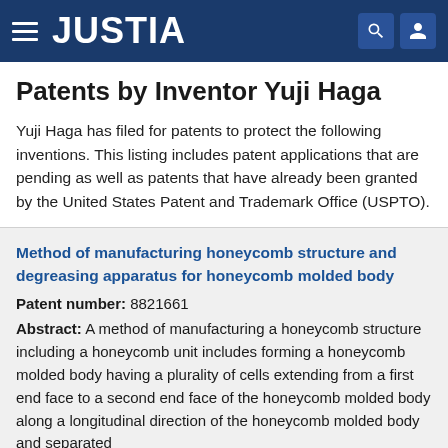JUSTIA
Patents by Inventor Yuji Haga
Yuji Haga has filed for patents to protect the following inventions. This listing includes patent applications that are pending as well as patents that have already been granted by the United States Patent and Trademark Office (USPTO).
Method of manufacturing honeycomb structure and degreasing apparatus for honeycomb molded body
Patent number: 8821661
Abstract: A method of manufacturing a honeycomb structure including a honeycomb unit includes forming a honeycomb molded body having a plurality of cells extending from a first end face to a second end face of the honeycomb molded body along a longitudinal direction of the honeycomb molded body and separated